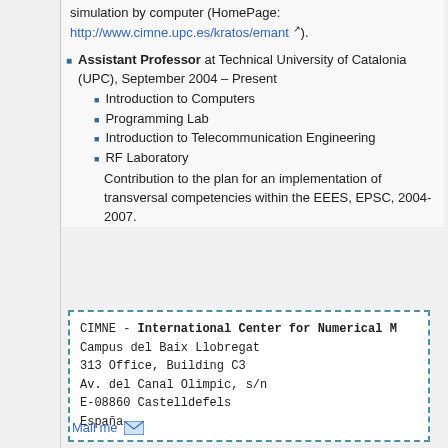simulation by computer (HomePage: http://www.cimne.upc.es/kratos/emant).
Assistant Professor at Technical University of Catalonia (UPC), September 2004 – Present
Introduction to Computers
Programming Lab
Introduction to Telecommunication Engineering
RF Laboratory
Contribution to the plan for an implementation of transversal competencies within the EEES, EPSC, 2004-2007.
CIMNE - International Center for Numerical M
Campus del Baix Llobregat
313 Office, Building C3
Av. del Canal Olimpic, s/n
E-08860 Castelldefels
España
Mail me